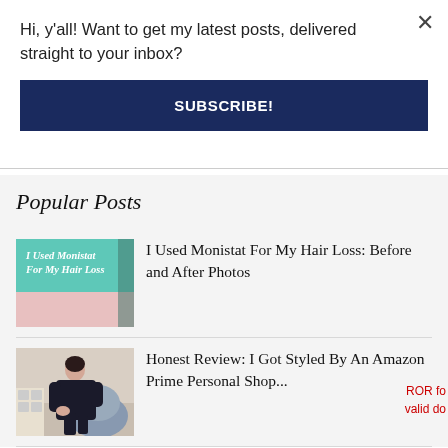Hi, y'all! Want to get my latest posts, delivered straight to your inbox?
SUBSCRIBE!
Popular Posts
[Figure (illustration): Teal and pink blog post thumbnail with text 'I Used Monistat For My Hair Loss']
I Used Monistat For My Hair Loss: Before and After Photos
[Figure (photo): Photo of a woman in a black outfit sitting]
Honest Review: I Got Styled By An Amazon Prime Personal Shop...
ROR fo
valid do